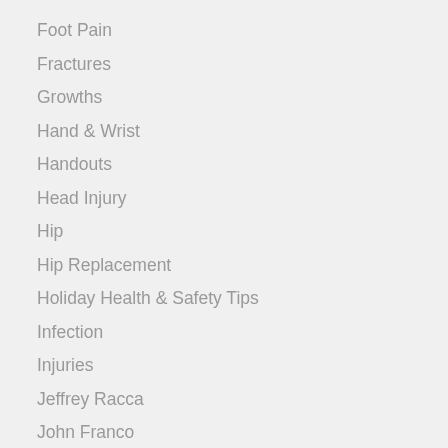Foot Pain
Fractures
Growths
Hand & Wrist
Handouts
Head Injury
Hip
Hip Replacement
Holiday Health & Safety Tips
Infection
Injuries
Jeffrey Racca
John Franco
Joint Pain
Joint Replacement
Knee
Knee Injuries